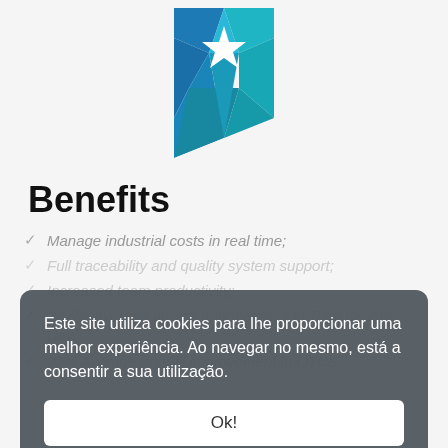[Figure (logo): Blue bookmark/badge ribbon icon with a white star in the center, blue geometric polygonal design]
Benefits
Manage industrial costs in real time;
Full traceability and quality system support;
Increased team productivity;
22,5% Average annual improvement in Total Cost per Unit
22% Average annual improvement in OTCS
Este site utiliza cookies para lhe proporcionar uma melhor experiência. Ao navegar no mesmo, está a consentir a sua utilização.